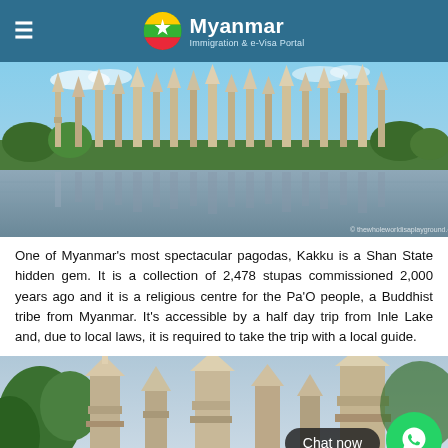Myanmar Immigration & e-Visa Portal
[Figure (photo): Panoramic view of Kakku pagodas with hundreds of ancient stupas reflected in water, surrounded by green trees and foliage. Watermark: © thewholeworldisaplayground.com]
One of Myanmar's most spectacular pagodas, Kakku is a Shan State hidden gem. It is a collection of 2,478 stupas commissioned 2,000 years ago and it is a religious centre for the Pa'O people, a Buddhist tribe from Myanmar. It's accessible by a half day trip from Inle Lake and, due to local laws, it is required to take the trip with a local guide.
[Figure (photo): Close-up view of Kakku pagodas showing ornate stone stupas with tree foliage in the foreground. Chat now WhatsApp button overlay visible.]